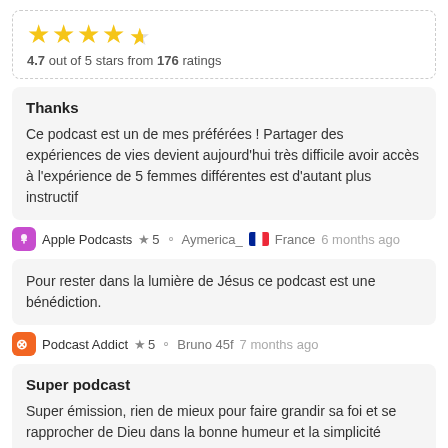[Figure (infographic): Star rating: 4.7 out of 5 with 4 full stars and 1 half star]
4.7 out of 5 stars from 176 ratings
Thanks
Ce podcast est un de mes préférées ! Partager des expériences de vies devient aujourd'hui très difficile avoir accès à l'expérience de 5 femmes différentes est d'autant plus instructif
Apple Podcasts ★ 5 Aymerica_ 🇫🇷 France 6 months ago
Pour rester dans la lumière de Jésus ce podcast est une bénédiction.
Podcast Addict ★ 5 Bruno 45f 7 months ago
Super podcast
Super émission, rien de mieux pour faire grandir sa foi et se rapprocher de Dieu dans la bonne humeur et la simplicité